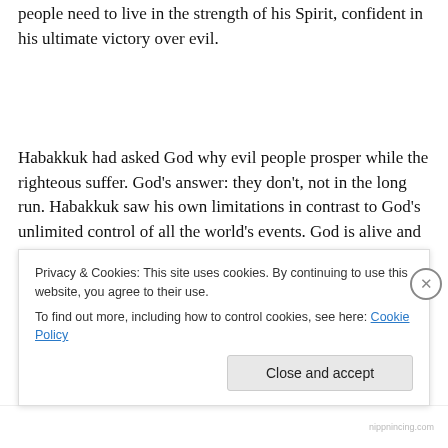people need to live in the strength of his Spirit, confident in his ultimate victory over evil.
Habakkuk had asked God why evil people prosper while the righteous suffer. God’s answer: they don’t, not in the long run. Habakkuk saw his own limitations in contrast to God’s unlimited control of all the world’s events. God is alive and in control of the world and its events. We cannot
Privacy & Cookies: This site uses cookies. By continuing to use this website, you agree to their use.
To find out more, including how to control cookies, see here: Cookie Policy
Close and accept